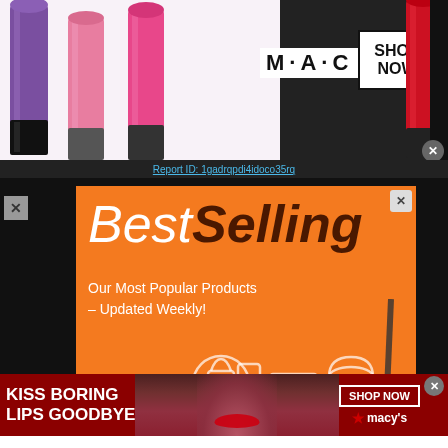[Figure (screenshot): MAC cosmetics advertisement banner showing colorful lipsticks with M·A·C logo and SHOP NOW button]
Report ID: 1gadrqpdi4idoco35rq
[Figure (screenshot): BestSelling orange advertisement: 'BestSelling Our Most Popular Products – Updated Weekly!' with product icons]
[Figure (screenshot): Macy's advertisement: 'KISS BORING LIPS GOODBYE' with model photo and SHOP NOW button with Macy's star logo]